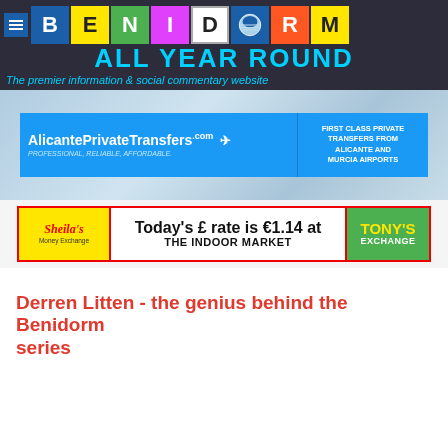[Figure (logo): Benidorm All Year Round website header logo with colorful letter tiles spelling BENIDORM and tagline text]
[Figure (other): Blue gradient background area with Alicante Private Transfers advertisement banner]
[Figure (other): Sheila's Money Exchange and Tony's Exchange banner advertising today's pound to euro rate of €1.14 at The Indoor Market]
Derren Litten - the genius behind the Benidorm series